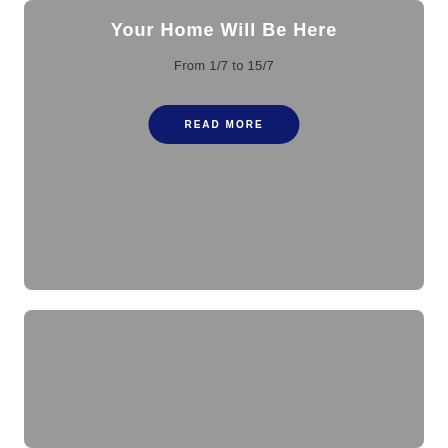[Figure (photo): Top gray banner/card area with white title text (partially visible at top), subtitle 'From 1/7 to 15/7', and a dark navy 'READ MORE' button]
From 1/7 to 15/7
READ MORE
[Figure (photo): Bottom gray banner/card area, image content not visible]